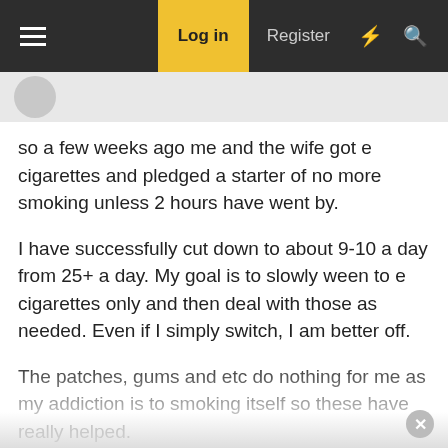≡  Log in  Register  ⚡  🔍
so a few weeks ago me and the wife got e cigarettes and pledged a starter of no more smoking unless 2 hours have went by.
I have successfully cut down to about 9-10 a day from 25+ a day. My goal is to slowly ween to e cigarettes only and then deal with those as needed. Even if I simply switch, I am better off.
The patches, gums and etc do nothing for me as my addiction is to smoking itself so these have really helped.
We have been kicking around the idea of going to every 3 hours instead of two or quitting smoking at work and doing 2 hr intervals at home but I struggle here and there still with the 2 hours so not sure which route to take...